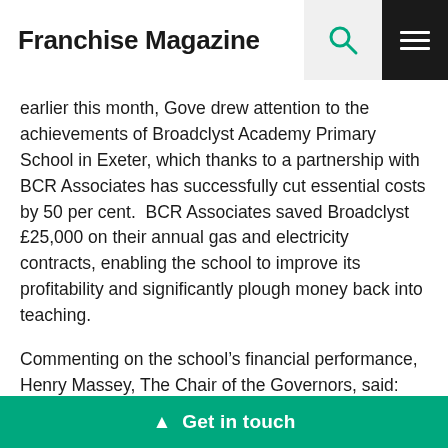Franchise Magazine
earlier this month, Gove drew attention to the achievements of Broadclyst Academy Primary School in Exeter, which thanks to a partnership with BCR Associates has successfully cut essential costs by 50 per cent.  BCR Associates saved Broadclyst £25,000 on their annual gas and electricity contracts, enabling the school to improve its profitability and significantly plough money back into teaching.
Commenting on the school's financial performance, Henry Massey, The Chair of the Governors, said: “Naturally one of the key benefits of our school enjoying academy status is the freedom that it brings in terms of taking complete control of our entire budget. As with any comme[...]tability and
▲ Get in touch